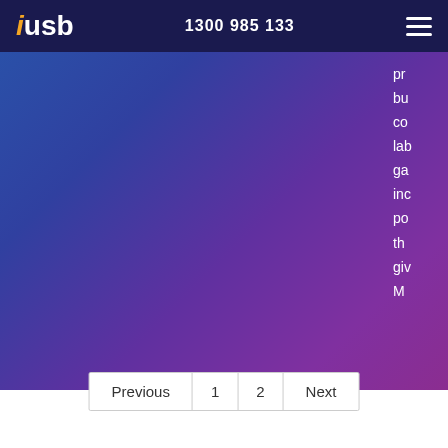iusb  1300 985 133
[Figure (screenshot): Blue to purple gradient background filling the main content area of the page]
pr
bu
co
la
ga
in
po
th
gi
M
Previous  1  2  Next
Not sure what you're after?